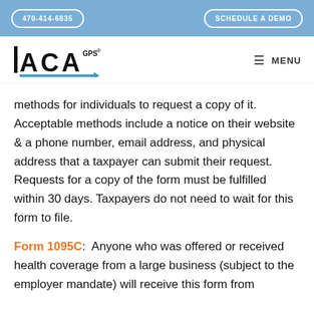470-414-6835   SCHEDULE A DEMO
[Figure (logo): ACA GPS logo with blue arrow]
methods for individuals to request a copy of it. Acceptable methods include a notice on their website & a phone number, email address, and physical address that a taxpayer can submit their request. Requests for a copy of the form must be fulfilled within 30 days. Taxpayers do not need to wait for this form to file.
Form 1095C:  Anyone who was offered or received health coverage from a large business (subject to the employer mandate) will receive this form from